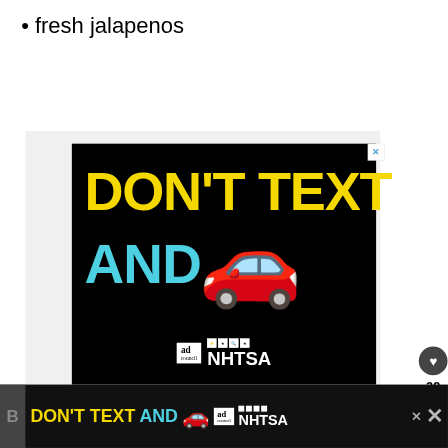fresh jalapenos
[Figure (screenshot): Online ad banner with black background showing 'DON'T TEXT AND [car emoji]' in large yellow and cyan text, with Ad Council and NHTSA logos at bottom. A close X button appears in top right corner.]
[Figure (screenshot): Sticky bottom banner ad repeating 'DON'T TEXT AND [car emoji]' with NHTSA branding on dark background, with close buttons.]